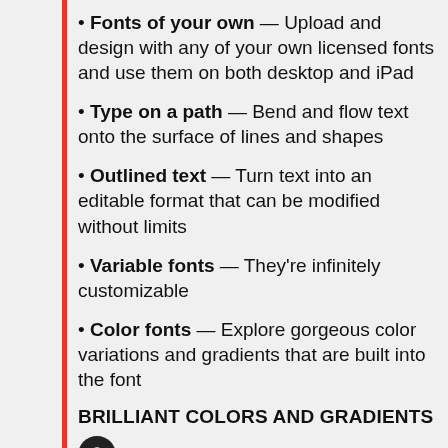Fonts of your own — Upload and design with any of your own licensed fonts and use them on both desktop and iPad
Type on a path — Bend and flow text onto the surface of lines and shapes
Outlined text — Turn text into an editable format that can be modified without limits
Variable fonts — They're infinitely customizable
Color fonts — Explore gorgeous color variations and gradients that are built into the font
BRILLIANT COLORS AND GRADIENTS
Point gradients — Drag and drop colors to create dynamic blends of diffused colors
20+ color books — Use industry-standard color